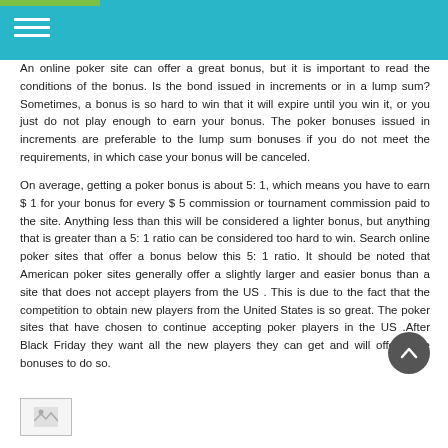An online poker site can offer a great bonus, but it is important to read the conditions of the bonus. Is the bond issued in increments or in a lump sum? Sometimes, a bonus is so hard to win that it will expire until you win it, or you just do not play enough to earn your bonus. The poker bonuses issued in increments are preferable to the lump sum bonuses if you do not meet the requirements, in which case your bonus will be canceled.
On average, getting a poker bonus is about 5: 1, which means you have to earn $ 1 for your bonus for every $ 5 commission or tournament commission paid to the site. Anything less than this will be considered a lighter bonus, but anything that is greater than a 5: 1 ratio can be considered too hard to win. Search online poker sites that offer a bonus below this 5: 1 ratio. It should be noted that American poker sites generally offer a slightly larger and easier bonus than a site that does not accept players from the US . This is due to the fact that the competition to obtain new players from the United States is so great. The poker sites that have chosen to continue accepting poker players in the US .After Black Friday they want all the new players they can get and will offer huge bonuses to do so.
[Figure (photo): Small image placeholder at bottom left]